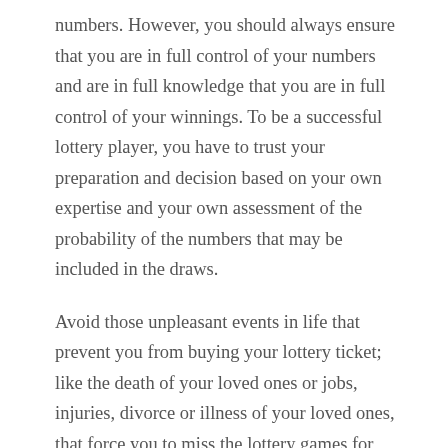numbers. However, you should always ensure that you are in full control of your numbers and are in full knowledge that you are in full control of your winnings. To be a successful lottery player, you have to trust your preparation and decision based on your own expertise and your own assessment of the probability of the numbers that may be included in the draws.
Avoid those unpleasant events in life that prevent you from buying your lottery ticket; like the death of your loved ones or jobs, injuries, divorce or illness of your loved ones, that force you to miss the lottery games for your entire family. These things should not be related to the decision of selecting your lottery numbers. It is always more logical and better to plan well before the actual draw takes place.
Therefore, if you want to win big in Keluaran SGP, you